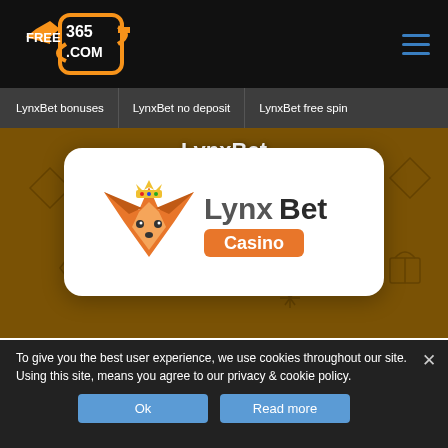FREE365.COM — navigation header with logo and hamburger menu
LynxBet bonuses
LynxBet no deposit
LynxBet free spin
LynxBet
[Figure (logo): LynxBet Casino logo: orange fox head icon with crown, text 'LynxBet' in gray and 'Casino' in orange badge]
To give you the best user experience, we use cookies throughout our site. Using this site, means you agree to our privacy & cookie policy.
Ok
Read more